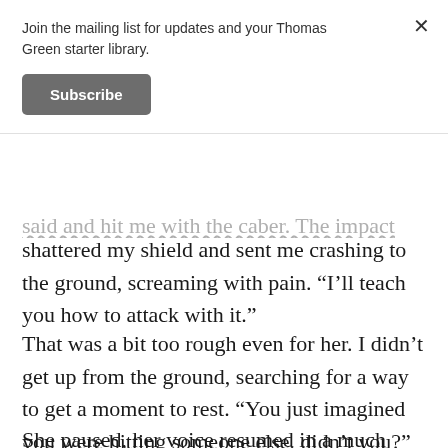Join the mailing list for updates and your Thomas Green starter library.
Subscribe
said and hit me with the caber. The impact shattered my shield and sent me crashing to the ground, screaming with pain. “I’ll teach you how to attack with it.”
That was a bit too rough even for her. I didn’t get up from the ground, searching for a way to get a moment to rest. “You just imagined you were hitting someone else, didn’t you?”
She paused, her voice resumed in a much softer